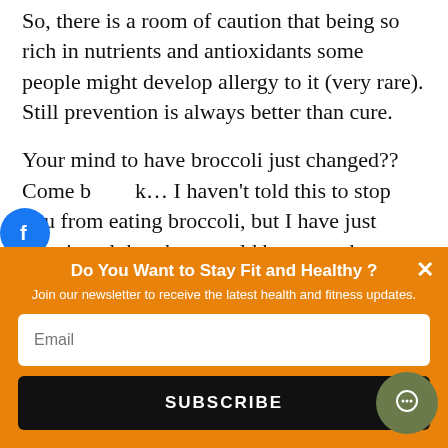So, there is a room of caution that being so rich in nutrients and antioxidants some people might develop allergy to it (very rare). Still prevention is always better than cure.
Your mind to have broccoli just changed?? Come back… I haven't told this to stop you from eating broccoli, but I have just mentioned that there could be some short comings to it as it could be a case with other veggie in the world, so don't worry and just ask your mother to prepare broccoli. And another
[Figure (infographic): Orange newsletter signup overlay with title 'Do You Want to Stay Fit and Healthy?', subtitle 'Join our newsletter to receive the latest health and fitness updates.', email input field, and SUBSCRIBE button. A close (×) button is at the top right. A dark olive chat bubble icon is at the bottom right.]